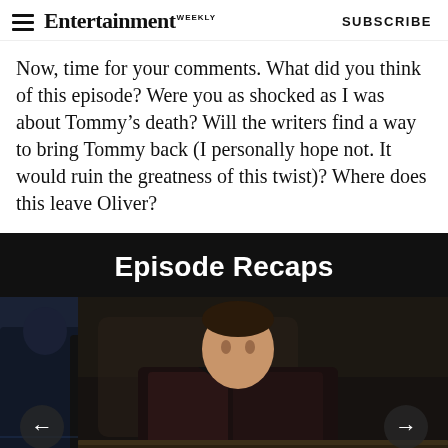Entertainment Weekly — SUBSCRIBE
Now, time for your comments. What did you think of this episode? Were you as shocked as I was about Tommy's death? Will the writers find a way to bring Tommy back (I personally hope not. It would ruin the greatness of this twist)? Where does this leave Oliver?
Episode Recaps
[Figure (photo): A carousel showing TV show episode recap images. Left image: group of four characters in superhero/action costumes standing together. Right image: a young man in a leather jacket seated, looking thoughtful. Navigation arrows (left and right) are visible on the sides.]